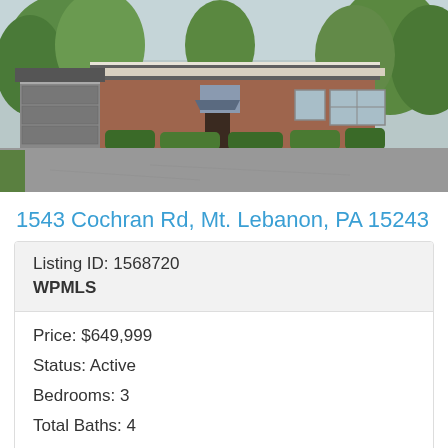[Figure (photo): Exterior photo of a single-story brick ranch house at 1543 Cochran Rd, Mt. Lebanon, PA. The house has a gray roof, garage on the left, large driveway in the foreground, green trees and shrubs surrounding the property.]
1543 Cochran Rd, Mt. Lebanon, PA 15243
| Listing ID: 1568720 |
| WPMLS |
| Price: $649,999 |
| Status: Active |
| Bedrooms: 3 |
| Total Baths: 4 |
| Full Baths: 3 |
| Partial Baths: 1 |